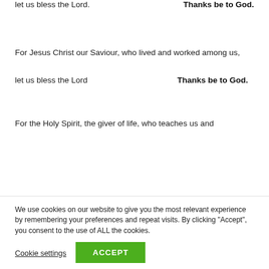let us bless the Lord.
Thanks be to God.
For Jesus Christ our Saviour, who lived and worked among us,
let us bless the Lord
Thanks be to God.
For the Holy Spirit, the giver of life, who teaches us and
We use cookies on our website to give you the most relevant experience by remembering your preferences and repeat visits. By clicking “Accept”, you consent to the use of ALL the cookies.
Cookie settings
ACCEPT